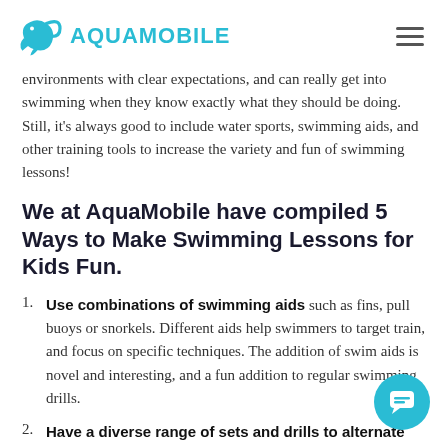AQUAMOBILE
environments with clear expectations, and can really get into swimming when they know exactly what they should be doing. Still, it's always good to include water sports, swimming aids, and other training tools to increase the variety and fun of swimming lessons!
We at AquaMobile have compiled 5 Ways to Make Swimming Lessons for Kids Fun.
Use combinations of swimming aids such as fins, pull buoys or snorkels. Different aids help swimmers to target train, and focus on specific techniques. The addition of swim aids is novel and interesting, and a fun addition to regular swimming drills.
Have a diverse range of sets and drills to alternate